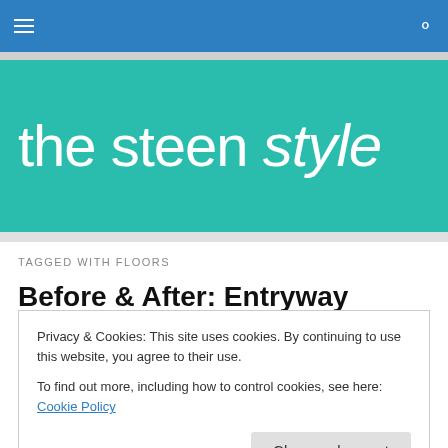the steen style
TAGGED WITH FLOORS
Before & After: Entryway
Privacy & Cookies: This site uses cookies. By continuing to use this website, you agree to their use.
To find out more, including how to control cookies, see here: Cookie Policy
Close and accept
left is what the entryway looked like on the day we got the